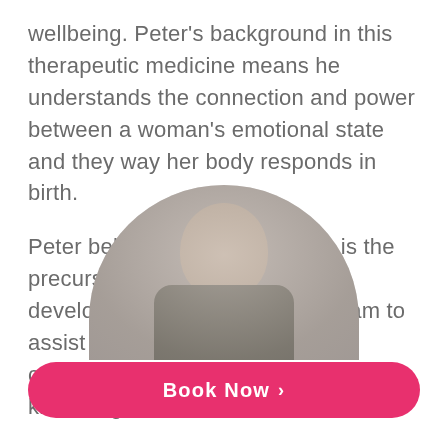wellbeing. Peter's background in this therapeutic medicine means he understands the connection and power between a woman's emotional state and they way her body responds in birth.
Peter believes that preparation is the precursor to the experience. He developed the Calmbirth® Program to assist couples prepare for birth confidently with evidenced based knowledge and tools.
[Figure (photo): Circular cropped portrait photo of a person, partially visible at the bottom of the page]
Book Now >